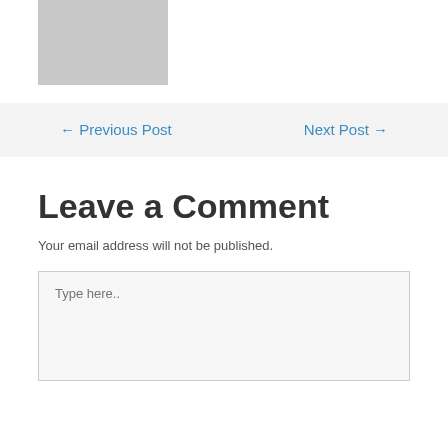[Figure (photo): Gray placeholder image rectangle]
← Previous Post
Next Post →
Leave a Comment
Your email address will not be published.
Type here..